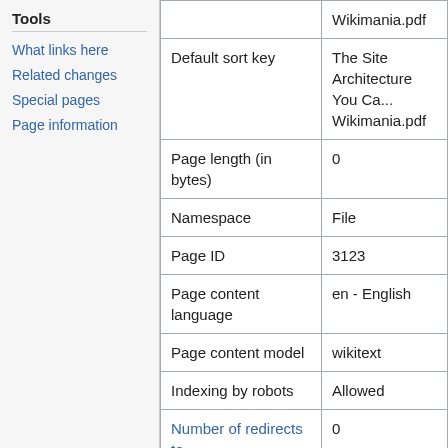Tools
What links here
Related changes
Special pages
Page information
| Property | Value |
| --- | --- |
|  | Wikimania.pdf |
| Default sort key | The Site Architecture You Ca... Wikimania.pdf |
| Page length (in bytes) | 0 |
| Namespace | File |
| Page ID | 3123 |
| Page content language | en - English |
| Page content model | wikitext |
| Indexing by robots | Allowed |
| Number of redirects to | 0 |